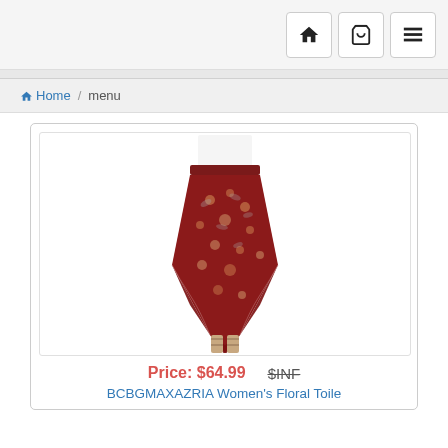Navigation bar with home, cart, and menu icons
Home / menu
[Figure (photo): Woman wearing a BCBGMAXAZRIA floral toile handkerchief-hem midi skirt in dark red/burgundy with floral print, paired with a white crop top and tan strappy sandals]
Price: $64.99   $INF
BCBGMAXAZRIA Women's Floral Toile